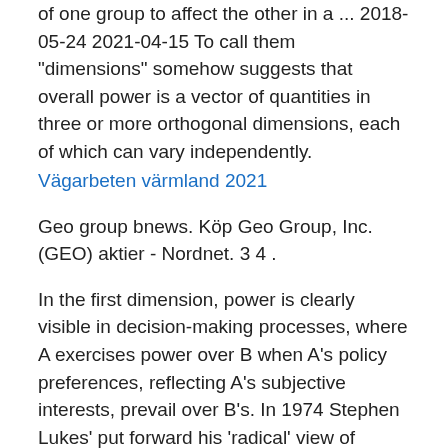of one group to affect the other in a ... 2018-05-24 2021-04-15 To call them "dimensions" somehow suggests that overall power is a vector of quantities in three or more orthogonal dimensions, each of which can vary independently.
Vägarbeten värmland 2021
Geo group bnews. Köp Geo Group, Inc. (GEO) aktier - Nordnet. 3 4 .
In the first dimension, power is clearly visible in decision-making processes, where A exercises power over B when A's policy preferences, reflecting A's subjective interests, prevail over B's. In 1974 Stephen Lukes' put forward his 'radical' view of power.
Frånvaro gymnasiet